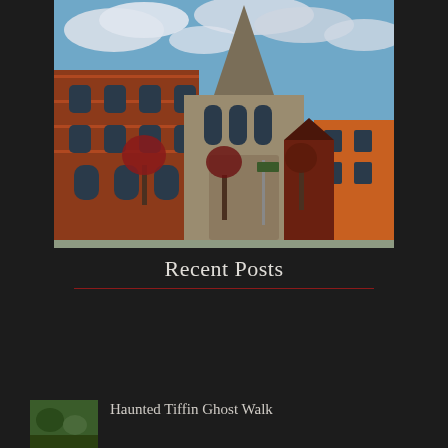[Figure (photo): Photograph of historic downtown Tiffin, Ohio — brick buildings, a stone church with pointed steeple, trees with autumn foliage, green lawn in foreground, blue sky with clouds]
Recent Posts
The Haunting of the College Transcripts
Haunted Tiffin Ghost Walk